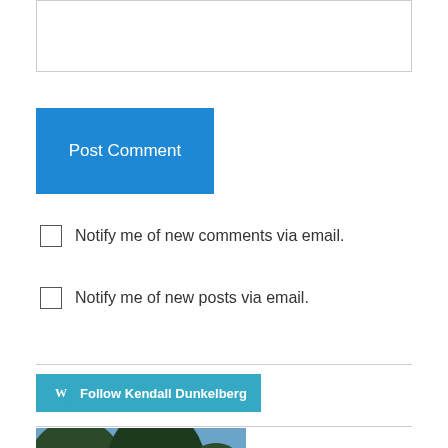Post Comment
Notify me of new comments via email.
Notify me of new posts via email.
Follow Kendall Dunkelberg
[Figure (photo): Photo with large white letter W overlaid on trees and brick building against blue sky]